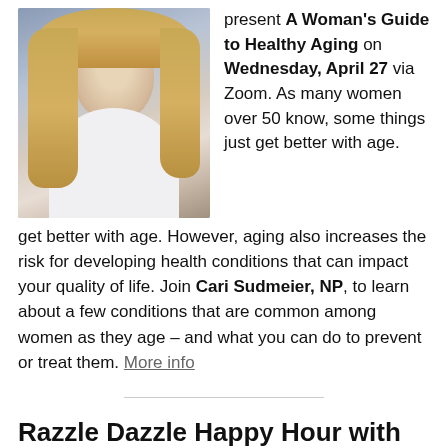[Figure (photo): Professional headshot of a smiling blonde woman with long hair, wearing a white top, against a dark blurred background.]
present A Woman's Guide to Healthy Aging on Wednesday, April 27 via Zoom. As many women over 50 know, some things just get better with age. However, aging also increases the risk for developing health conditions that can impact your quality of life. Join Cari Sudmeier, NP, to learn about a few conditions that are common among women as they age – and what you can do to prevent or treat them. More info
Razzle Dazzle Happy Hour with Bonnie G